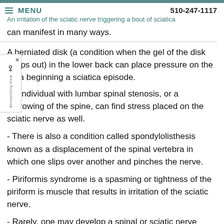MENU   510-247-1117
An irritation of the sciatic nerve triggering a bout of sciatica
can manifest in many ways.
A herniated disk (a condition when the gel of the disk seeps out) in the lower back can place pressure on the area beginning a sciatica episode.
An individual with lumbar spinal stenosis, or a narrowing of the spine, can find stress placed on the sciatic nerve as well.
- There is also a condition called spondylolisthesis known as a displacement of the spinal vertebra in which one slips over another and pinches the nerve.
- Piriformis syndrome is a spasming or tightness of the piriform is muscle that results in irritation of the sciatic nerve.
- Rarely, one may develop a spinal or sciatic nerve tumor